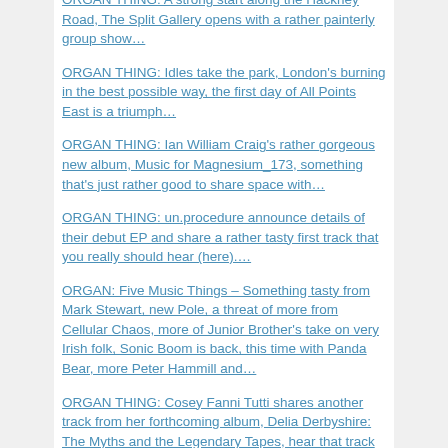ORGAN THING: A strong start along the Hackney Road, The Split Gallery opens with a rather painterly group show…
ORGAN THING: Idles take the park, London's burning in the best possible way, the first day of All Points East is a triumph…
ORGAN THING: Ian William Craig's rather gorgeous new album, Music for Magnesium_173, something that's just rather good to share space with…
ORGAN THING: un.procedure announce details of their debut EP and share a rather tasty first track that you really should hear (here)….
ORGAN: Five Music Things – Something tasty from Mark Stewart, new Pole, a threat of more from Cellular Chaos, more of Junior Brother's take on very Irish folk, Sonic Boom is back, this time with Panda Bear, more Peter Hammill and…
ORGAN THING: Cosey Fanni Tutti shares another track from her forthcoming album, Delia Derbyshire: The Myths and the Legendary Tapes, hear that track